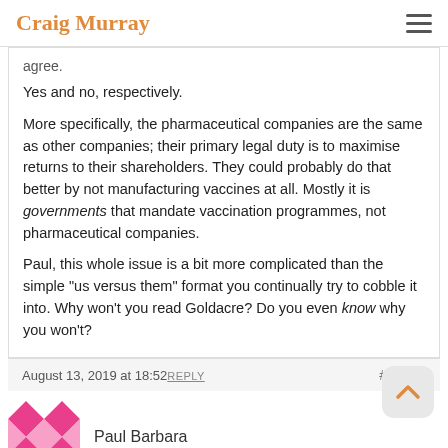Craig Murray
agree.
Yes and no, respectively.
More specifically, the pharmaceutical companies are the same as other companies; their primary legal duty is to maximise returns to their shareholders. They could probably do that better by not manufacturing vaccines at all. Mostly it is governments that mandate vaccination programmes, not pharmaceutical companies.
Paul, this whole issue is a bit more complicated than the simple "us versus them" format you continually try to cobble it into. Why won't you read Goldacre? Do you even know why you won't?
August 13, 2019 at 18:52 REPLY #46379
Paul Barbara